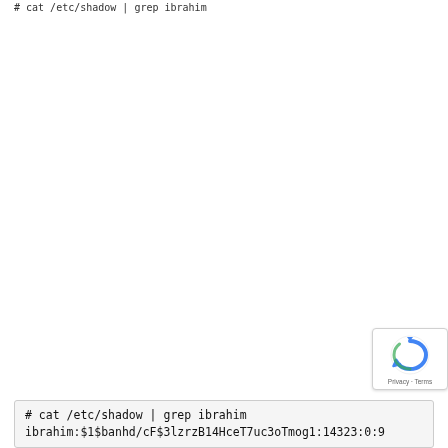# cat /etc/shadow | grep ibrahim
# cat /etc/shadow | grep ibrahim
ibrahim:$1$banhd/cF$3lzrzB14HceT7uc3oTmog1:14323:0:9